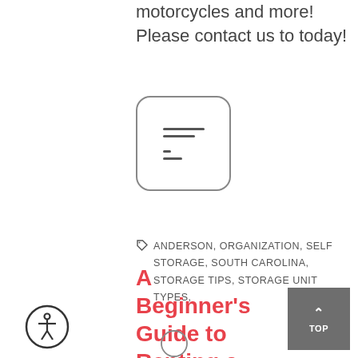motorcycles and more! Please contact us to today!
[Figure (illustration): A rounded square icon with horizontal lines representing a document or list, with a dotted line at the bottom.]
ANDERSON, ORGANIZATION, SELF STORAGE, SOUTH CAROLINA, STORAGE TIPS, STORAGE UNIT TYPES,
A Beginner's Guide to Renting a Storage Unit
[Figure (illustration): Accessibility icon — a person inside a circle outline.]
[Figure (other): Back to top button, grey square with upward arrow and text TOP.]